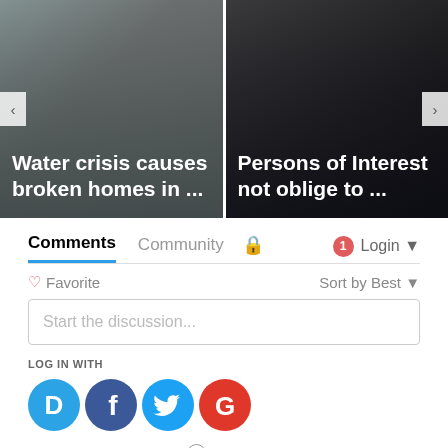[Figure (screenshot): Two news article thumbnail cards side by side. Left card (gray background): 'Water crisis causes broken homes in ...' in white bold text. Right card (dark background): 'Persons of Interest not oblige to ...' in white bold text.]
Comments
Community
1
Login
♡ Favorite
Sort by Best
Start the discussion...
LOG IN WITH
OR SIGN UP WITH DISQUS
Name